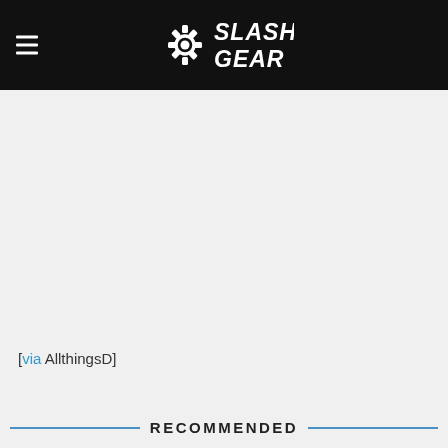SlashGear
[via AllthingsD]
RECOMMENDED